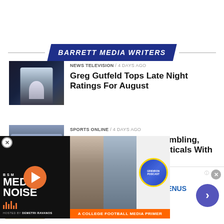BARRETT MEDIA WRITERS
[Figure (photo): Man in suit on TV studio background]
NEWS TELEVISION / 4 days ago
Greg Gutfeld Tops Late Night Ratings For August
[Figure (photo): Group of men in suits]
SPORTS ONLINE / 4 days ago
The Volume Expands Gambling, Video, Sponsorships Verticals With Five Hires
NEWS / 5 days ago
New Fall Lineup, Including
[Figure (screenshot): Media Noise podcast popup overlay with photos and badge]
[Figure (screenshot): Advertisement: Women's Fashion | Shop Online | VENUS - Shop the best in women's fashion, clothing, swimwear - venus.com]